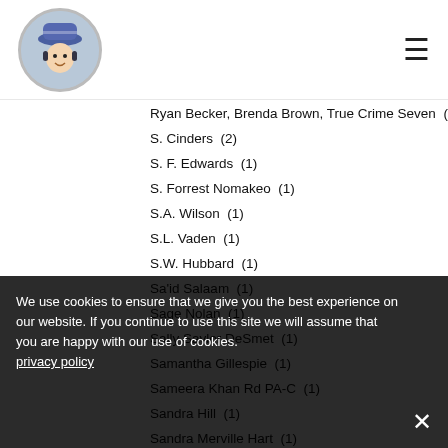[Logo image] [Hamburger menu]
Ryan Becker, Brenda Brown, True Crime Seven  (1)
S. Cinders  (2)
S. F. Edwards  (1)
S. Forrest Nomakeo  (1)
S.A. Wilson  (1)
S.L. Vaden  (1)
S.W. Hubbard  (1)
Sa'id Salaam  (1)
Sage Nolan  (1)
Sally Saylor DeSmet  (1)
Samantha Gillespie  (1)
Sameera Khan Rd PA-C  (1)
Sandra Hill  (1)
Sandra Merville Hart  (1)
Sandra Sookoo  (11)
Sara Lunsford  (1)
Sarah Wisseman  (1)
Saranna DeWylde  (3)
Scenna Elizabeth Rose, Rhiannon Jayne  (1)
Schuyler Randall  (1)
Scott S. Phillips  (3)
We use cookies to ensure that we give you the best experience on our website. If you continue to use this site we will assume that you are happy with our use of cookies. privacy policy